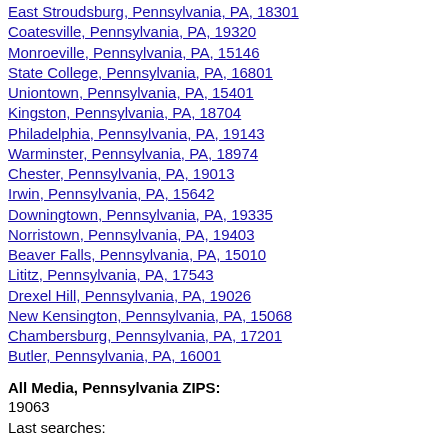East Stroudsburg, Pennsylvania, PA, 18301
Coatesville, Pennsylvania, PA, 19320
Monroeville, Pennsylvania, PA, 15146
State College, Pennsylvania, PA, 16801
Uniontown, Pennsylvania, PA, 15401
Kingston, Pennsylvania, PA, 18704
Philadelphia, Pennsylvania, PA, 19143
Warminster, Pennsylvania, PA, 18974
Chester, Pennsylvania, PA, 19013
Irwin, Pennsylvania, PA, 15642
Downingtown, Pennsylvania, PA, 19335
Norristown, Pennsylvania, PA, 19403
Beaver Falls, Pennsylvania, PA, 15010
Lititz, Pennsylvania, PA, 17543
Drexel Hill, Pennsylvania, PA, 19026
New Kensington, Pennsylvania, PA, 15068
Chambersburg, Pennsylvania, PA, 17201
Butler, Pennsylvania, PA, 16001
All Media, Pennsylvania ZIPS:
19063
Last searches:
all free online dating in Media, PA
Media absolutely free adult dating